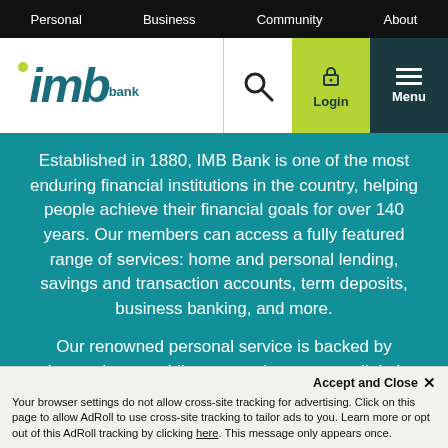Personal  Business  Community  About
[Figure (logo): IMB Bank logo with green dot above 'i', teal italic 'imb' text, and 'bank' superscript]
Established in 1880, IMB Bank is one of the most enduring financial institutions in the country, helping people achieve their financial goals for over 140 years. Our members can access a fully featured range of services: home and personal lending, savings and transaction accounts, term deposits, business banking, and more.
Our renowned personal service is backed by innovation, providing convenient, secure digital banking options where and when you want it. IMB
Accept and Close ✕
Your browser settings do not allow cross-site tracking for advertising. Click on this page to allow AdRoll to use cross-site tracking to tailor ads to you. Learn more or opt out of this AdRoll tracking by clicking here. This message only appears once.